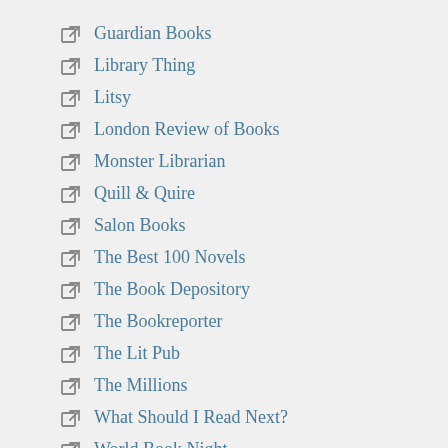Guardian Books
Library Thing
Litsy
London Review of Books
Monster Librarian
Quill & Quire
Salon Books
The Best 100 Novels
The Book Depository
The Bookreporter
The Lit Pub
The Millions
What Should I Read Next?
World Book Night